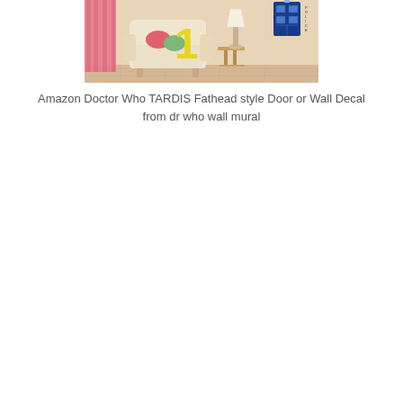[Figure (photo): A living room scene showing a cream-colored armchair with pink and green cushions, a side table with a lamp, a pink curtain on the left, and a Doctor Who TARDIS blue box wall decal on the upper right wall. A yellow number '1' watermark is overlaid on the image.]
Amazon Doctor Who TARDIS Fathead style Door or Wall Decal from dr who wall mural